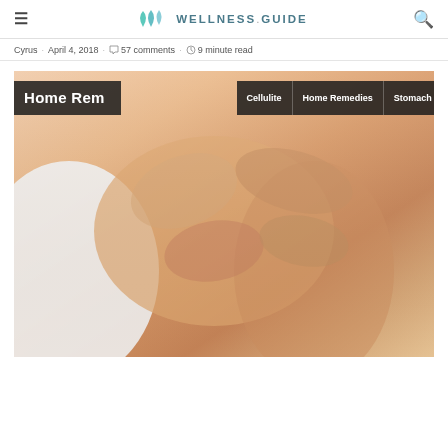WELLNESS.GUIDE
Cyrus · April 4, 2018 · 57 comments · 9 minute read
[Figure (photo): Close-up photo of hands massaging a person's thigh/leg area (cellulite treatment), with a partial overlaid navigation showing tags: Cellulite, Home Remedies, Stomach Ache. Partial title text visible: 'Home Rem...']